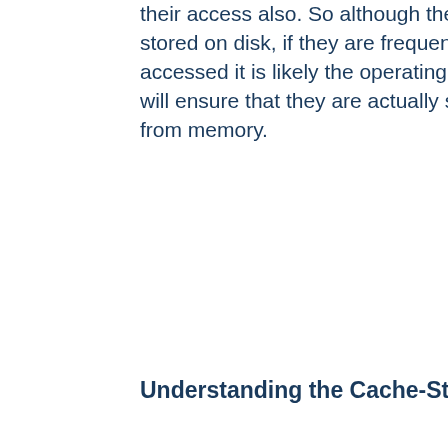their access also. So although the files are stored on disk, if they are frequently accessed it is likely the operating system will ensure that they are actually served from memory.
Understanding the Cache-Store
To store items in the cache, mod_cache_disk creates a 22 character hash of the URL being requested. This hash incorporates the hostname, protocol, port, path and any CGI arguments to the URL, as well as elements defined by the Vary header to ensure that multiple URLs